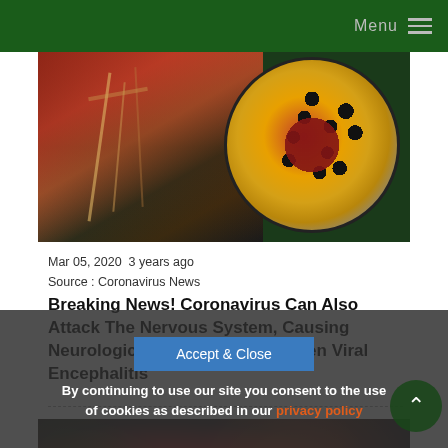Menu
[Figure (illustration): Medical illustration showing nervous system anatomy (left) and a coronavirus particle cross-section (right), displayed as a split image collage]
Mar 05, 2020  3 years ago
Source : Coronavirus News
Breaking News! Coronavirus Can Also Attack The Nervous System, Causing Neurological Conditions And Even Viral Encephalitis
[Figure (illustration): Microscopic illustration showing blood cells and virus particles in dark background]
By continuing to use our site you consent to the use of cookies as described in our privacy policy